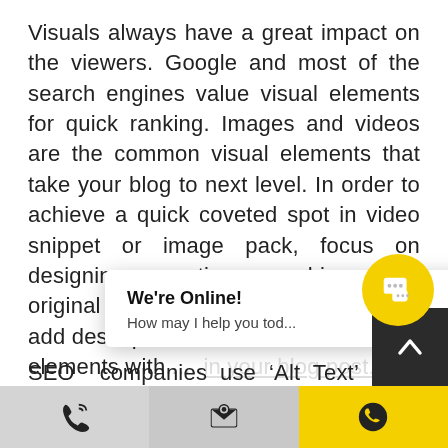Visuals always have a great impact on the viewers. Google and most of the search engines value visual elements for quick ranking. Images and videos are the common visual elements that take your blog to next level. In order to achieve a quick coveted spot in video snippet or image pack, focus on designing creative graphics, use original videos ad photos, add descriptive ... su elements with...in your blog post.
SEO companies use 'Alt Text' as a facto